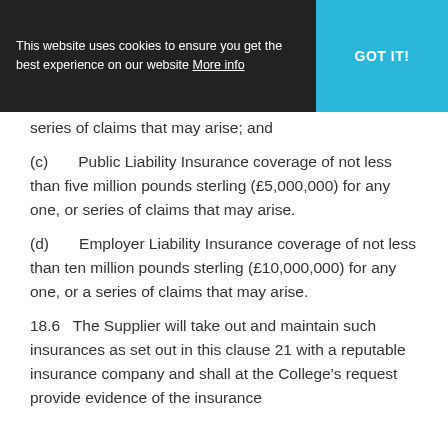This website uses cookies to ensure you get the best experience on our website More info | GOT IT!
series of claims that may arise; and
(c)      Public Liability Insurance coverage of not less than five million pounds sterling (£5,000,000) for any one, or series of claims that may arise.
(d)      Employer Liability Insurance coverage of not less than ten million pounds sterling (£10,000,000) for any one, or a series of claims that may arise.
18.6   The Supplier will take out and maintain such insurances as set out in this clause 21 with a reputable insurance company and shall at the College's request provide evidence of the insurance